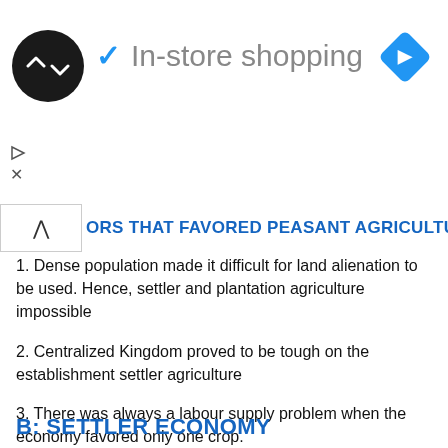[Figure (logo): Ad banner with circular logo, checkmark, 'In-store shopping' text, and navigation diamond icon]
ORS THAT FAVORED PEASANT AGRICULTURE
1. Dense population made it difficult for land alienation to be used. Hence, settler and plantation agriculture impossible
2. Centralized Kingdom proved to be tough on the establishment settler agriculture
3. There was always a labour supply problem when the economy favored only one crop.
4. Peasant agriculture was cheaper in the production of materials and settlers needed big capital, land, modern equipment
B: SETTLER ECONOMY